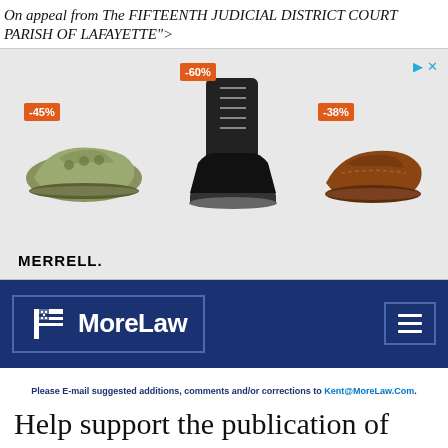On appeal from The FIFTEENTH JUDICIAL DISTRICT COURT PARISH OF LAFAYETTE">
[Figure (photo): Advertisement banner for Merrell shoes showing three shoes with discount badges: -45%, -60%, -38%]
[Figure (logo): MoreLaw logo on dark blue navigation bar with hamburger menu icon]
Please E-mail suggested additions, comments and/or corrections to Kent@MoreLaw.Com.
Help support the publication of case reports on MoreLaw